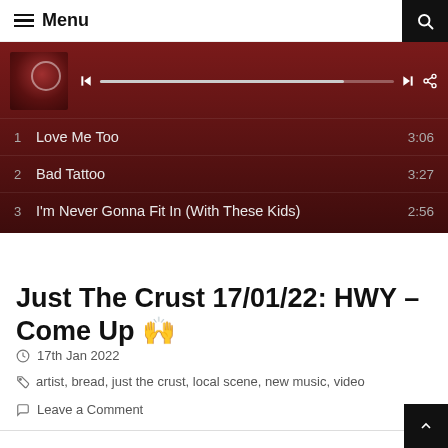Menu
[Figure (screenshot): Music player widget showing a dark red album player UI with playback controls and a progress bar, followed by a track list: 1. Love Me Too 3:06, 2. Bad Tattoo 3:27, 3. I'm Never Gonna Fit In (With These Kids) 2:56]
Just The Crust 17/01/22: HWY – Come Up 🙌
17th Jan 2022
artist, bread, just the crust, local scene, new music, video
Leave a Comment